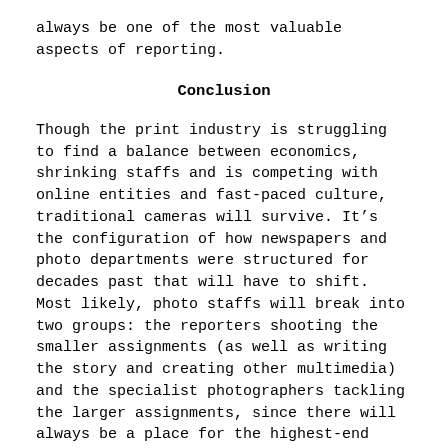always be one of the most valuable aspects of reporting.
Conclusion
Though the print industry is struggling to find a balance between economics, shrinking staffs and is competing with online entities and fast-paced culture, traditional cameras will survive. It’s the configuration of how newspapers and photo departments were structured for decades past that will have to shift. Most likely, photo staffs will break into two groups: the reporters shooting the smaller assignments (as well as writing the story and creating other multimedia) and the specialist photographers tackling the larger assignments, since there will always be a place for the highest-end people. Koretzky’s